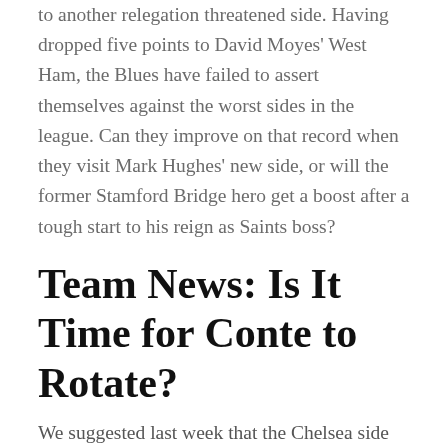to another relegation threatened side. Having dropped five points to David Moyes' West Ham, the Blues have failed to assert themselves against the worst sides in the league. Can they improve on that record when they visit Mark Hughes' new side, or will the former Stamford Bridge hero get a boost after a tough start to his reign as Saints boss?
Team News: Is It Time for Conte to Rotate?
We suggested last week that the Chelsea side should incorporate younger players after the Champions League got away from them. However, Antonio Conte upped the age of the team last weekend as Gary Cahill returned for Andreas Christensen. That feels quite counterproductive, but there's simply no case for making a Champions League push now, with